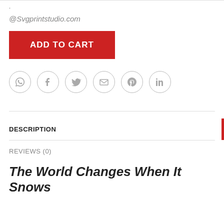.
@Svgprintstudio.com
ADD TO CART
[Figure (infographic): Row of 6 social media icon circles: WhatsApp, Facebook, Twitter, Email, Pinterest, LinkedIn]
DESCRIPTION
REVIEWS (0)
The World Changes When It Snows